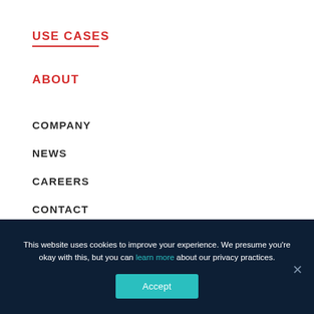USE CASES
ABOUT
COMPANY
NEWS
CAREERS
CONTACT
This website uses cookies to improve your experience. We presume you're okay with this, but you can learn more about our privacy practices.
Accept